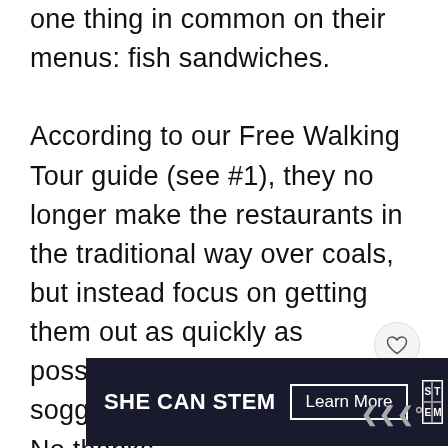one thing in common on their menus: fish sandwiches.

According to our Free Walking Tour guide (see #1), they no longer make the restaurants in the traditional way over coals, but instead focus on getting them out as quickly as possible. He said to expect soggy bread and wilted lettuce. No thanks.
[Figure (other): Heart (like) button icon — circular button with heart outline]
[Figure (other): Share bubble showing count 17 and share icon in teal/green color]
[Figure (other): Advertisement banner: SHE CAN STEM with Learn More button, STEM grid logo, Ad Council logo on dark background]